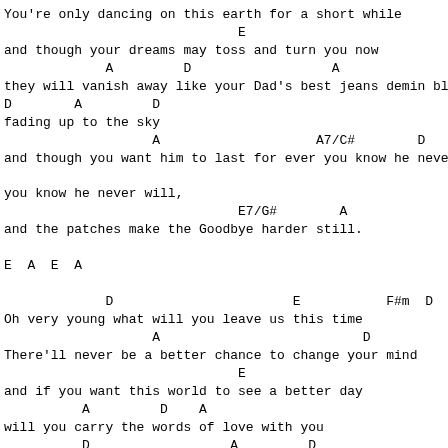You're only dancing on this earth for a short while
                              E
and though your dreams may toss and turn you now
             A         D                  A
they will vanish away like your Dad's best jeans demin bl
D        A         D
fading up to the sky
                   A                    A7/C#        D    B
and though you want him to last for ever you know he neve

you know he never will,
                              E7/G#        A
and the patches make the Goodbye harder still.

E  A  E  A

             D                       E           F#m  D  E
Oh very young what will you leave us this time
                   A                          D
There'll never be a better chance to change your mind
                              E
and if you want this world to see a better day
          A         D    A
will you carry the words of love with you
          D                  A         D
will you ride the great white bird into heaven
                   A                    A7/C#    D    B
and though you want to last for ever you know you never w